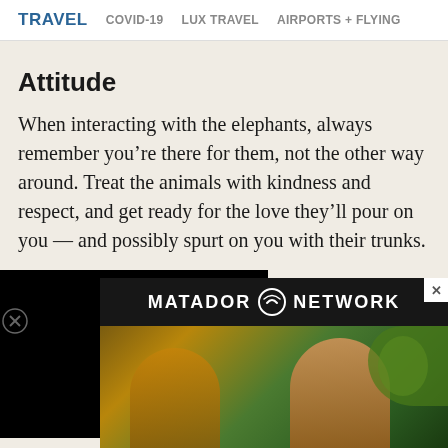TRAVEL   COVID-19   LUX TRAVEL   AIRPORTS + FLYING
Attitude
When interacting with the elephants, always remember you’re there for them, not the other way around. Treat the animals with kindness and respect, and get ready for the love they’ll pour on you — and possibly spurt on you with their trunks.
[Figure (other): Black advertisement overlay box covering part of the page, with a circular close button (X) on the left side]
ADVERTISEMENT
[Figure (other): Matador Network advertisement banner showing two people (a woman and a man wearing sunglasses) with tropical foliage background and the Matador Network logo with heart icon in white text]